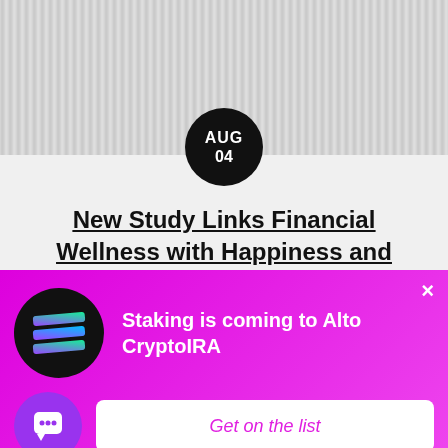[Figure (photo): Top portion of a fabric or textile image, light gray wavy texture, partially cropped]
AUG 04
New Study Links Financial Wellness with Happiness and Better Sleep
[Figure (photo): Black and white photo of a person's face, dark moody lighting, appears to be wearing glasses]
[Figure (logo): Alto CryptoIRA advertisement banner with Solana logo, magenta/pink background. Text: Staking is coming to Alto CryptoIRA. CTA button: Get on the list]
Staking is coming to Alto CryptoIRA
Get on the list